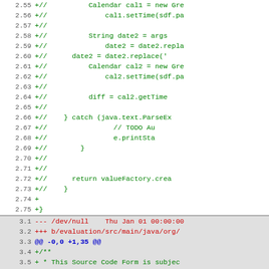[Figure (screenshot): Code diff view showing line numbers 2.55-2.75 with green added lines containing Java code for Calendar and date operations, followed by a new diff section starting at 3.1 showing file headers and license comment lines]